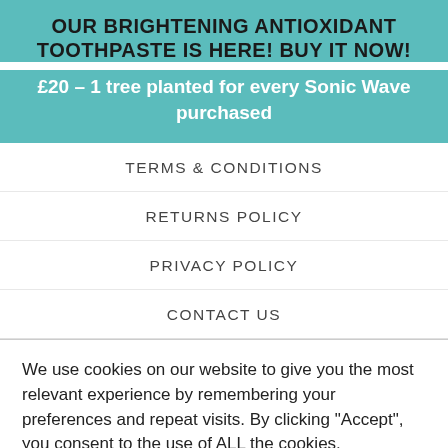OUR BRIGHTENING ANTIOXIDANT TOOTHPASTE IS HERE! BUY IT NOW!
£20 – 1 tree planted for every Sonic Wave purchased
TERMS & CONDITIONS
RETURNS POLICY
PRIVACY POLICY
CONTACT US
We use cookies on our website to give you the most relevant experience by remembering your preferences and repeat visits. By clicking "Accept", you consent to the use of ALL the cookies.
Cookie settings  ACCEPT